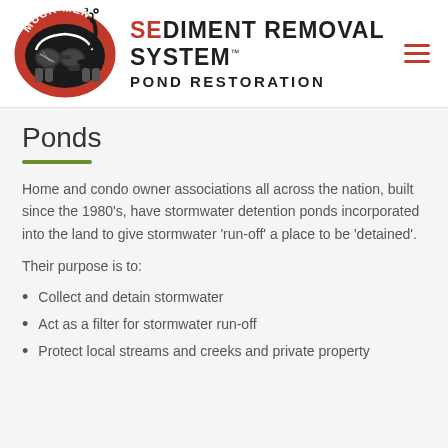[Figure (logo): Muck-Men Sediment Removal System Pond Restoration logo with red oval, scuba mask, and brand name text]
Ponds
Home and condo owner associations all across the nation, built since the 1980's, have stormwater detention ponds incorporated into the land to give stormwater 'run-off' a place to be 'detained'.
Their purpose is to:
Collect and detain stormwater
Act as a filter for stormwater run-off
Protect local streams and creeks and private property